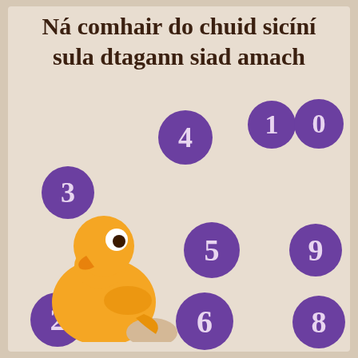Ná comhair do chuid sicíní sula dtagann siad amach
[Figure (illustration): Educational Irish-language infographic with a cartoon yellow duck chick and purple circles numbered 2 through 10 scattered around on a beige/sandy textured background resembling an egg or wall surface.]